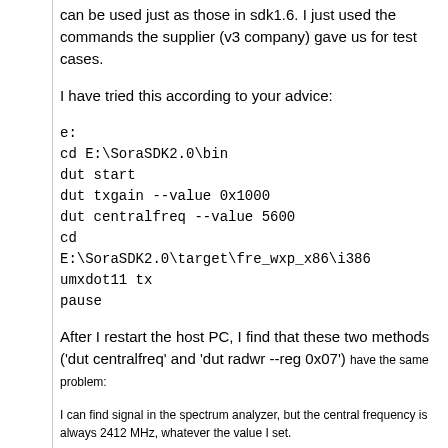can be used just as those in sdk1.6. I just used the commands the supplier (v3 company) gave us for test cases.
I have tried this according to your advice:
e:
cd E:\SoraSDK2.0\bin
dut start
dut txgain --value 0x1000
dut centralfreq --value 5600
cd
E:\SoraSDK2.0\target\fre_wxp_x86\i386
umxdot11 tx
pause
After I restart the host PC, I find that these two methods ('dut centralfreq' and 'dut radwr --reg 0x07') have the same problem:
I can find signal in the spectrum analyzer, but the central frequency is always 2412 MHz, whatever the value I set.
Note that: